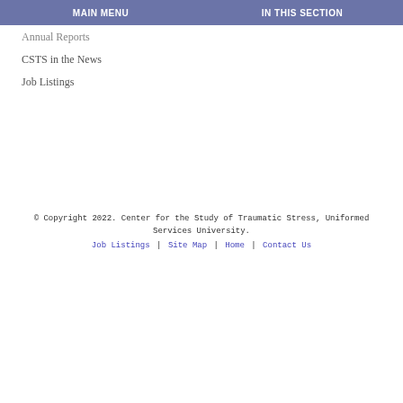MAIN MENU | IN THIS SECTION
Annual Reports
CSTS in the News
Job Listings
© Copyright 2022. Center for the Study of Traumatic Stress, Uniformed Services University. Job Listings | Site Map | Home | Contact Us